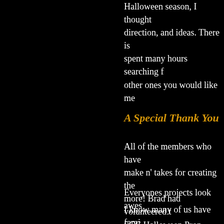Halloween season, I thought direction, and ideas. There is spent many hours searching f other ones you would like me
A Special Thank You
All of the members who have make n' takes for creating the more! Brad had volunteered t SCC Halloween Prop Builde Yea! Thanks Brad, you Rock
Everyones projects look awes
I know many of us have fami impossible to get everyone to have still taken the time to co make n' takes for the ball, all extremely grateful to all of